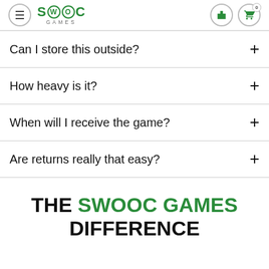SWOOC GAMES
Can I store this outside?
How heavy is it?
When will I receive the game?
Are returns really that easy?
THE SWOOC GAMES DIFFERENCE